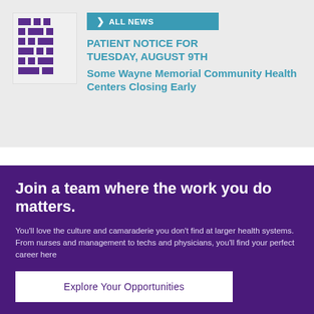[Figure (logo): Wayne Memorial Hospital logo — purple pixelated cross/plus symbol made of rectangular blocks]
> ALL NEWS
PATIENT NOTICE FOR TUESDAY, AUGUST 9TH Some Wayne Memorial Community Health Centers Closing Early
Join a team where the work you do matters.
You'll love the culture and camaraderie you don't find at larger health systems. From nurses and management to techs and physicians, you'll find your perfect career here
Explore Your Opportunities